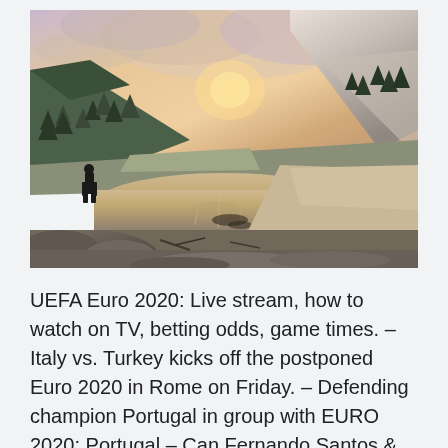[Figure (photo): A mountain landscape at sunset with a still reflective lake in the foreground. A person stands on rocks to the left looking at the view. Mountains and pine trees are visible in the background with dramatic cloudy sky.]
UEFA Euro 2020: Live stream, how to watch on TV, betting odds, game times. – Italy vs. Turkey kicks off the postponed Euro 2020 in Rome on Friday. – Defending champion Portugal in group with EURO 2020: Portugal – Can Fernando Santos & his men defend their